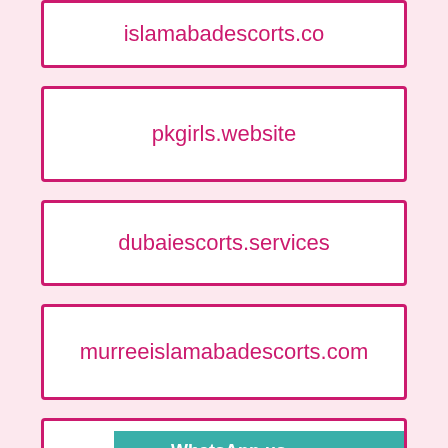islamabadescorts.co
pkgirls.website
dubaiescorts.services
murreeislamabadescorts.com
WhatsApp us +971522698199